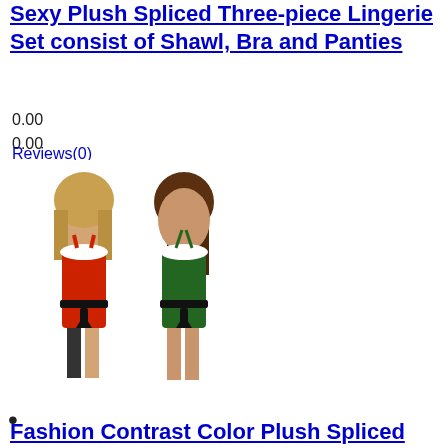Sexy Plush Spliced Three-piece Lingerie Set consist of Shawl, Bra and Panties
0.00
0.00
Reviews(0)
[Figure (photo): Two models wearing Christmas-themed lingerie sets in red and green with white plush trim and black belt]
•
Fashion Contrast Color Plush Spliced Lace Self-tie Lingerie Bodysuit for Christmas